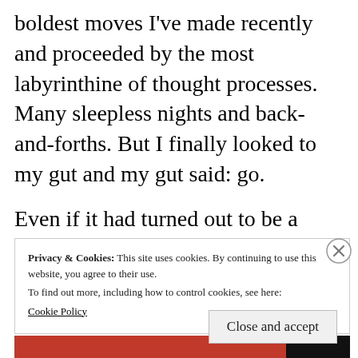boldest moves I've made recently and proceeded by the most labyrinthine of thought processes. Many sleepless nights and back-and-forths. But I finally looked to my gut and my gut said: go.
Even if it had turned out to be a mistake (which I don't believe it has), it would have been my mistake and one honestly made.
Privacy & Cookies: This site uses cookies. By continuing to use this website, you agree to their use.
To find out more, including how to control cookies, see here:
Cookie Policy
Close and accept